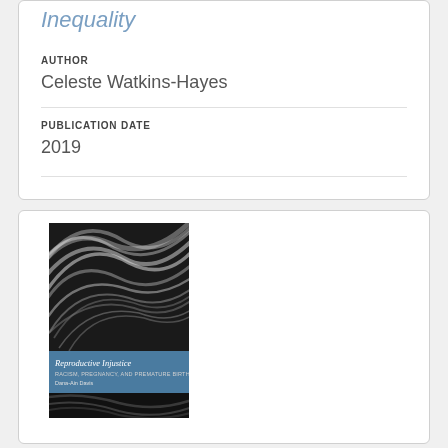Inequality
AUTHOR
Celeste Watkins-Hayes
PUBLICATION DATE
2019
[Figure (photo): Book cover of 'Reproductive Injustice: Racism, Pregnancy, and Premature Birth' by Dana-Ain Davis, featuring abstract black and white brushstroke art with a teal/blue middle band containing the title and subtitle text.]